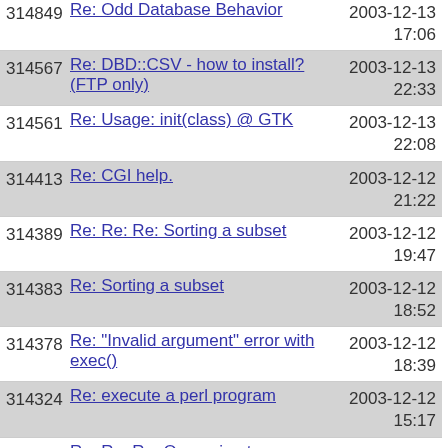314849 Re: Odd Database Behavior 2003-12-13 17:06
314567 Re: DBD::CSV - how to install? (FTP only) 2003-12-13 22:33
314561 Re: Usage: init(class) @ GTK 2003-12-13 22:08
314413 Re: CGI help. 2003-12-12 21:22
314389 Re: Re: Re: Sorting a subset 2003-12-12 19:47
314383 Re: Sorting a subset 2003-12-12 18:52
314378 Re: "Invalid argument" error with exec() 2003-12-12 18:39
314324 Re: execute a perl program 2003-12-12 15:17
313895 Re: Re: Re: Open pipe to a function? 2003-12-10 21:59
313886 Re: Open pipe to a function? 2003-12-10 21:41
313871 Re: What Programmers Want 2003-12-10 21:04
313733 Re: another 'array to hash' 2003-12-10